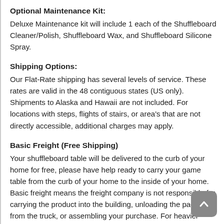Optional Maintenance Kit:
Deluxe Maintenance kit will include 1 each of the Shuffleboard Cleaner/Polish, Shuffleboard Wax, and Shuffleboard Silicone Spray.
Shipping Options:
Our Flat-Rate shipping has several levels of service. These rates are valid in the 48 contiguous states (US only). Shipments to Alaska and Hawaii are not included. For locations with steps, flights of stairs, or area's that are not directly accessible, additional charges may apply.
Basic Freight (Free Shipping)
Your shuffleboard table will be delivered to the curb of your home for free, please have help ready to carry your game table from the curb of your home to the inside of your home. Basic freight means the freight company is not responsible for carrying the product into the building, unloading the package from the truck, or assembling your purchase. For heavier items, we strongly recommend you have the appropriate assistance available at the time of delivery.